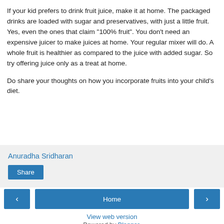If your kid prefers to drink fruit juice, make it at home. The packaged drinks are loaded with sugar and preservatives, with just a little fruit. Yes, even the ones that claim "100% fruit". You don't need an expensive juicer to make juices at home. Your regular mixer will do. A whole fruit is healthier as compared to the juice with added sugar. So try offering juice only as a treat at home.
Do share your thoughts on how you incorporate fruits into your child's diet.
Anuradha Sridharan
Share
‹
Home
›
View web version
Powered by Blogger.